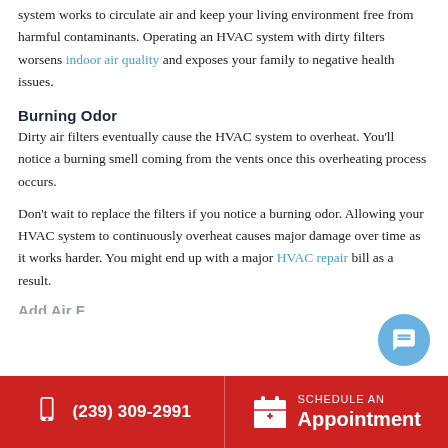system works to circulate air and keep your living environment free from harmful contaminants. Operating an HVAC system with dirty filters worsens indoor air quality and exposes your family to negative health issues.
Burning Odor
Dirty air filters eventually cause the HVAC system to overheat. You'll notice a burning smell coming from the vents once this overheating process occurs.
Don't wait to replace the filters if you notice a burning odor. Allowing your HVAC system to continuously overheat causes major damage over time as it works harder. You might end up with a major HVAC repair bill as a result.
(239) 309-2991  SCHEDULE AN Appointment